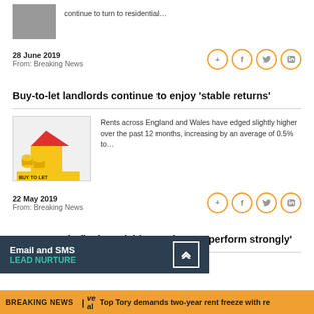continue to turn to residential...
28 June 2019
From: Breaking News
Buy-to-let landlords continue to enjoy ‘stable returns’
[Figure (photo): Photo of a buy-to-let property model made of coins with red roof and BUY TO LET sign]
Rents across England and Wales have edged slightly higher over the past 12 months, increasing by an average of 0.5% to...
22 May 2019
From: Breaking News
Rents remain flat but ‘yields continue to perform strongly’
ross England and Wales has remained
Email and SMS LEAD NURTURE
BREAKING NEWS Top Tory demands two-year rent freeze with re